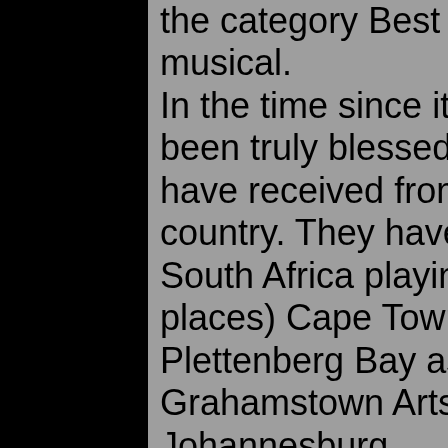the category Best Performance in a musical. In the time since it's inception the cast have been truly blessed by the responses they have received from audiences all over the country. They have toured extensively in South Africa playing in (among other places) Cape Town, Durban, Port Elizabeth, Plettenberg Bay as well as the Hilton and Grahamstown Arts Festivals and in Johannesburg. Tours further a field rewarded them with capacity houses in London, Namibia and Zimbabwe.